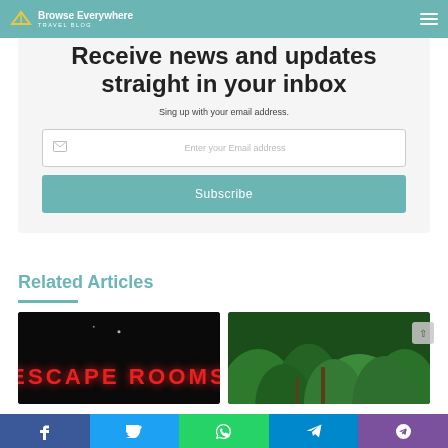Browse Everywhere - Travel Blog
Receive news and updates straight in your inbox
Sing up with your email address.
Enter your Email address
Subscribe
Related Articles
[Figure (photo): Dark background image with 'ESCAPE ROOMS' text in red neon letters]
[Figure (photo): Lush green hillside with trees and vegetation, travel destination photo]